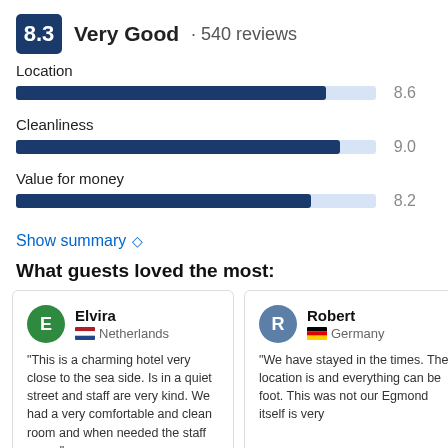8.3 Very Good · 540 reviews
[Figure (bar-chart): Ratings]
Show summary ◇
What guests loved the most:
Elvira
Netherlands
"This is a charming hotel very close to the sea side. Is in a quiet street and staff are very kind. We had a very comfortable and clean room and when needed the staff was..."
Robert
Germany
"We have stayed in the times. The location is and everything can be foot. This was not our Egmond itself is very"